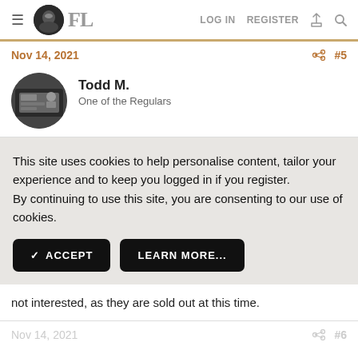FL | LOG IN | REGISTER
Nov 14, 2021 #5
Todd M. One of the Regulars
This site uses cookies to help personalise content, tailor your experience and to keep you logged in if you register. By continuing to use this site, you are consenting to our use of cookies.
✓ ACCEPT  LEARN MORE...
not interested, as they are sold out at this time.
Nov 14, 2021 #6